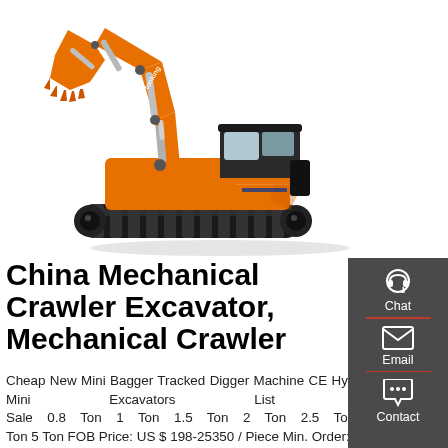[Figure (photo): Orange Tonking brand mechanical crawler excavator on white background, full side/front view showing boom, arm, bucket, cab, and tracked undercarriage]
China Mechanical Crawler Excavator, Mechanical Crawler
Cheap New Mini Bagger Tracked Digger Machine CE Hydraulic Crawler Mini Excavators List Prices for Sale 0.8 Ton 1 Ton 1.5 Ton 2 Ton 2.5 Ton 3 Ton 3.5 Ton 5 Ton FOB Price: US $ 198-25350 / Piece Min. Order: 1 Piece